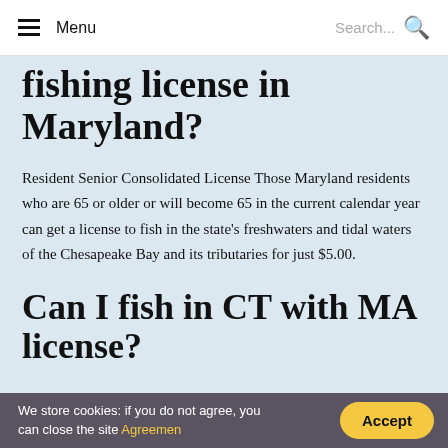Menu | Search...
fishing license in Maryland?
Resident Senior Consolidated License Those Maryland residents who are 65 or older or will become 65 in the current calendar year can get a license to fish in the state's freshwaters and tidal waters of the Chesapeake Bay and its tributaries for just $5.00.
Can I fish in CT with MA license?
We store cookies: if you do not agree, you can close the site Agreemen